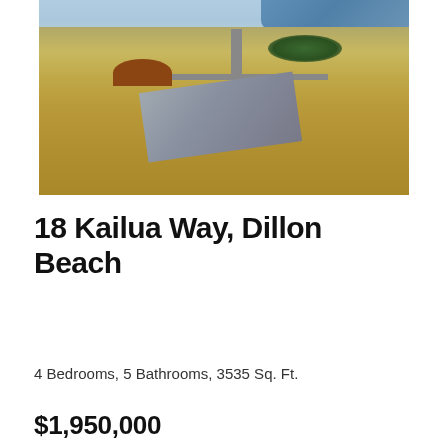[Figure (photo): Aerial drone photo of a coastal property at 18 Kailua Way, Dillon Beach. Shows a large grey-roofed house surrounded by dry grass and scrubland, with a smaller brown-roofed structure nearby, roads, and the Pacific Ocean and beach visible in the upper right background.]
18 Kailua Way, Dillon Beach
4 Bedrooms, 5 Bathrooms, 3535 Sq. Ft.
$1,950,000